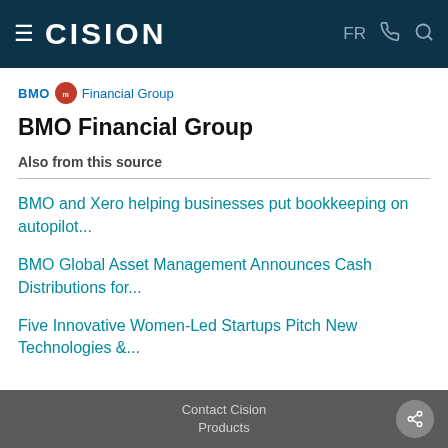CISION — FR
[Figure (logo): BMO Financial Group logo with red circle icon and blue text]
BMO Financial Group
Also from this source
BMO and Xero helping businesses put bookkeeping on autopilot...
BMO Global Asset Management Announces Cash Distributions for...
Five Innovative Women-Led Startups Pitch New Technologies &...
Contact Cision
Products